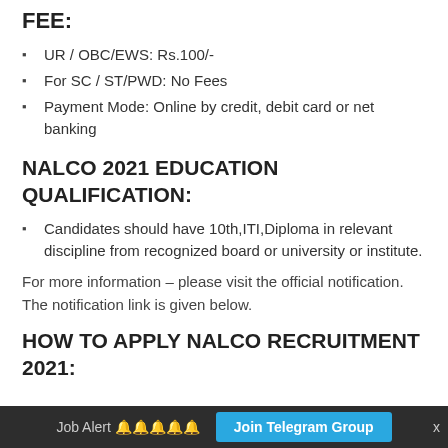FEE:
UR / OBC/EWS: Rs.100/-
For SC / ST/PWD: No Fees
Payment Mode: Online by credit, debit card or net banking
NALCO 2021 EDUCATION QUALIFICATION:
Candidates should have 10th,ITI,Diploma in relevant discipline from recognized board or university or institute.
For more information – please visit the official notification. The notification link is given below.
HOW TO APPLY NALCO RECRUITMENT 2021:
Job Alert 🔔🔔🔔🔔🔔   Join Telegram Group   x